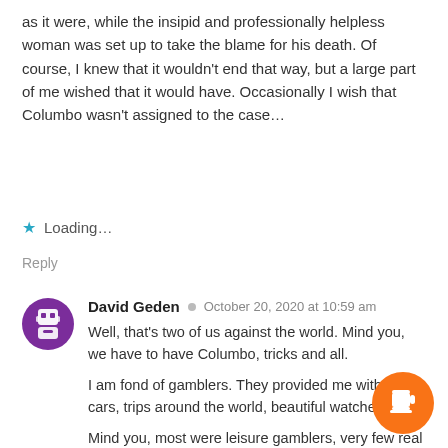as it were, while the insipid and professionally helpless woman was set up to take the blame for his death. Of course, I knew that it wouldn't end that way, but a large part of me wished that it would have. Occasionally I wish that Columbo wasn't assigned to the case…
★ Loading…
Reply
David Geden · October 20, 2020 at 10:59 am
Well, that's two of us against the world. Mind you, we have to have Columbo, tricks and all.
I am fond of gamblers. They provided me with luxury cars, trips around the world, beautiful watches etc.
Mind you, most were leisure gamblers, very few real gamblers and even fewer compulsive gamblers.
It was more about the social side, getting away from your spouse to have a smoke, passing dud cheques…quite a few of those and the very high return percentage plus the game, the most popular in the country…devised and programmed by big mouth here.